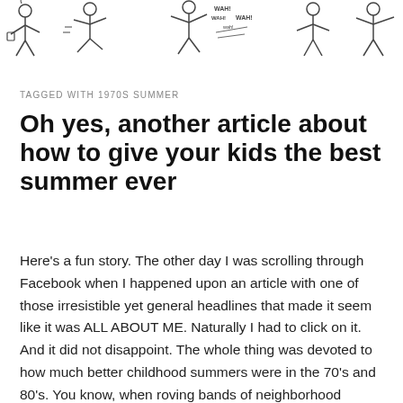[Figure (illustration): Hand-drawn stick figure illustrations showing various children playing and interacting, including figures with a cup, running figures, and figures with speech bubbles saying 'WAH! WAH! wah! WAH!']
TAGGED WITH 1970S SUMMER
Oh yes, another article about how to give your kids the best summer ever
Here's a fun story. The other day I was scrolling through Facebook when I happened upon an article with one of those irresistible yet general headlines that made it seem like it was ALL ABOUT ME. Naturally I had to click on it. And it did not disappoint. The whole thing was devoted to how much better childhood summers were in the 70's and 80's. You know, when roving bands of neighborhood children started fireflies in jars, swimming, and dove